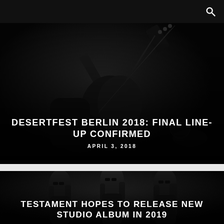[Figure (photo): Dark concert photo of a guitarist playing a black electric guitar on stage]
DESERTFEST BERLIN 2018: FINAL LINE-UP CONFIRMED
APRIL 3, 2018
[Figure (photo): Dark photo of three band members with long hair and sunglasses]
TESTAMENT HOPES TO RELEASE NEW STUDIO ALBUM IN 2019